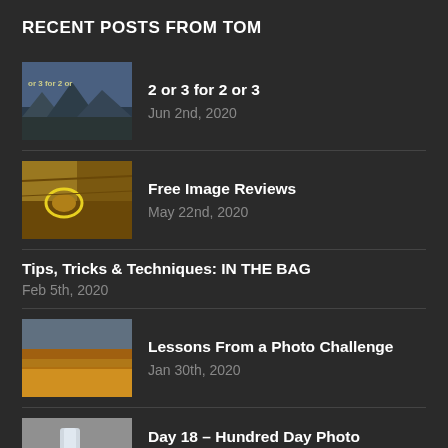RECENT POSTS FROM TOM
2 or 3 for 2 or 3
Jun 2nd, 2020
Free Image Reviews
May 22nd, 2020
Tips, Tricks & Techniques: IN THE BAG
Feb 5th, 2020
Lessons From a Photo Challenge
Jan 30th, 2020
Day 18 – Hundred Day Photo Challenge
Jan 18th, 2020
INTRODUCING...